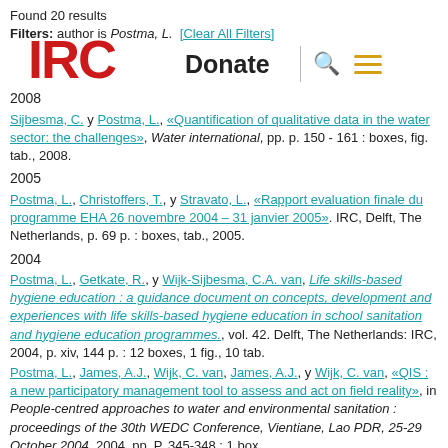Found 20 results
Filters: author is Postma, L. [Clear All Filters]
2008
Sijbesma, C. y Postma, L., «Quantification of qualitative data in the water sector: the challenges», Water international, pp. p. 150 - 161 : boxes, fig. tab., 2008.
2005
Postma, L., Christoffers, T., y Stravato, L., «Rapport evaluation finale du programme EHA 26 novembre 2004 – 31 janvier 2005». IRC, Delft, The Netherlands, p. 69 p. : boxes, tab., 2005.
2004
Postma, L., Getkate, R., y Wijk-Sijbesma, C.A. van, Life skills-based hygiene education : a guidance document on concepts, development and experiences with life skills-based hygiene education in school sanitation and hygiene education programmes., vol. 42. Delft, The Netherlands: IRC, 2004, p. xiv, 144 p. : 12 boxes, 1 fig., 10 tab.
Postma, L., James, A.J., Wijk, C. van, James, A.J., y Wijk, C. van, «QIS : a new participatory management tool to assess and act on field reality», in People-centred approaches to water and environmental sanitation : proceedings of the 30th WEDC Conference, Vientiane, Lao PDR, 25-29 October 2004, 2004, pp. P. 345-348 : 1 box.